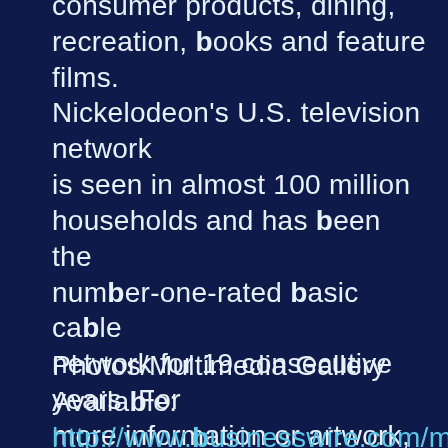consumer products, dining, recreation, books and feature films. Nickelodeon's U.S. television network is seen in almost 100 million households and has been the number-one-rated basic cable network for 19 consecutive years. For more information or artwork, visit http://www.nickpress.com. Nickelodeon and all related titles, characters and logos are trademarks of Viacom Inc. (NASDAQ: VIA, VIA.B).
Photos/Multimedia Gallery Available: http://www.businesswire.com/multimedia/home/20140605005716/en/